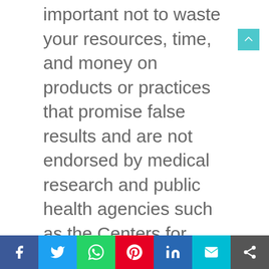important not to waste your resources, time, and money on products or practices that promise false results and are not endorsed by medical research and public health agencies such as the Centers for Disease Control, the Food and Drug Administration , and The World Health Organization .
Here are some of the myths and disinformation about false miracle cures promoted by "influencers," who are not qualified medical, nutrition